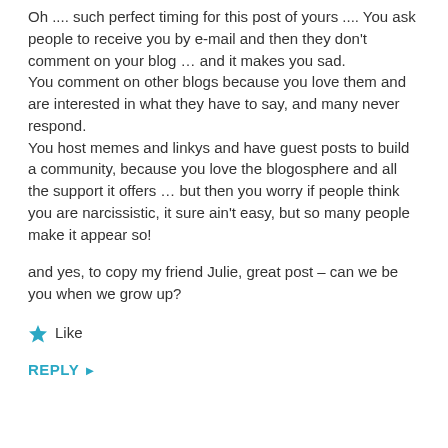Oh .... such perfect timing for this post of yours .... You ask people to receive you by e-mail and then they don't comment on your blog … and it makes you sad.
You comment on other blogs because you love them and are interested in what they have to say, and many never respond.
You host memes and linkys and have guest posts to build a community, because you love the blogosphere and all the support it offers … but then you worry if people think you are narcissistic, it sure ain't easy, but so many people make it appear so!

and yes, to copy my friend Julie, great post – can we be you when we grow up?
Like
REPLY